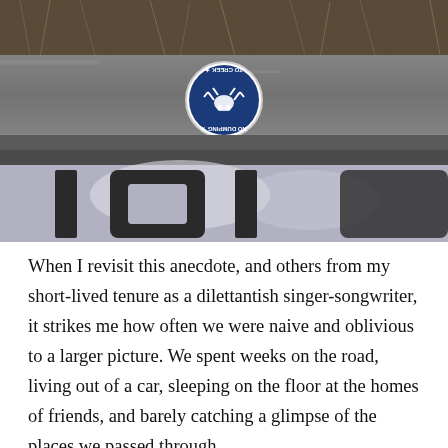[Figure (photo): Close-up photograph of a concrete curb or storm drain edge. A circular blue 'No Dumping — Drains to Creek' medallion/badge is affixed to the top of the curb, showing an upside-down frog graphic. Below the curb edge, large painted numbers or text (appearing as '101' or similar) are visible on the concrete surface with a weathered, frost-covered appearance.]
When I revisit this anecdote, and others from my short-lived tenure as a dilettantish singer-songwriter, it strikes me how often we were naive and oblivious to a larger picture. We spent weeks on the road, living out of a car, sleeping on the floor at the homes of friends, and barely catching a glimpse of the places we passed through.